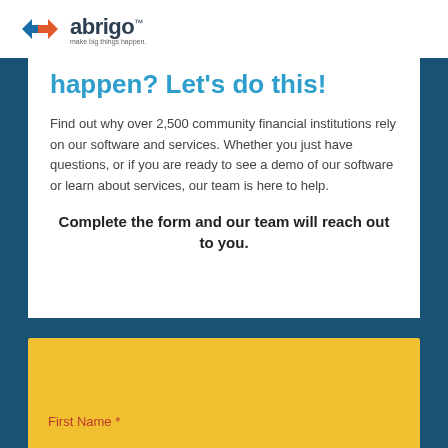abrigo — make big things happen.
happen? Let's do this!
Find out why over 2,500 community financial institutions rely on our software and services. Whether you just have questions, or if you are ready to see a demo of our software or learn about services, our team is here to help.
Complete the form and our team will reach out to you.
First Name *